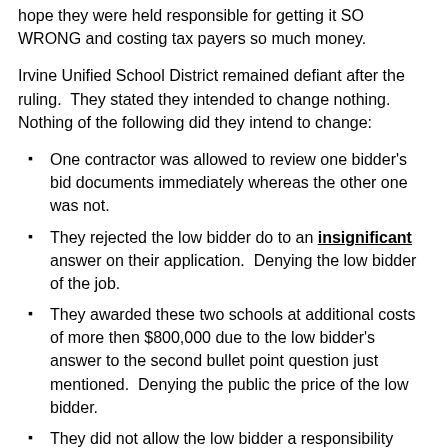hope they were held responsible for getting it SO WRONG and costing tax payers so much money.
Irvine Unified School District remained defiant after the ruling. They stated they intended to change nothing. Nothing of the following did they intend to change:
One contractor was allowed to review one bidder's bid documents immediately whereas the other one was not.
They rejected the low bidder do to an insignificant answer on their application. Denying the low bidder of the job.
They awarded these two schools at additional costs of more then $800,000 due to the low bidder's answer to the second bullet point question just mentioned. Denying the public the price of the low bidder.
They did not allow the low bidder a responsibility hearing.